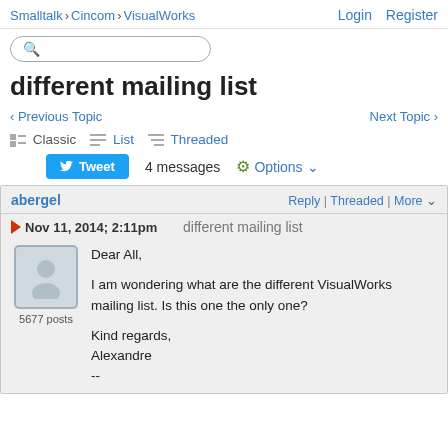Smalltalk > Cincom > VisualWorks   Login  Register
different mailing list
< Previous Topic    Next Topic >
Classic  List  Threaded
Tweet  4 messages  Options
abergel   Reply | Threaded | More
Nov 11, 2014; 2:11pm   different mailing list
Dear All,

I am wondering what are the different VisualWorks mailing list. Is this one the only one?

Kind regards,
Alexandre
--